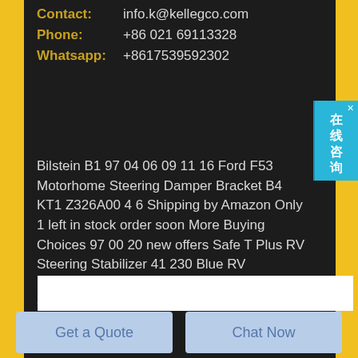Contact:   info.k@kellegco.com
Phone:     +86 021 69113328
Whatsapp: +8617539592302
Bilstein B1 97 04 06 09 11 16 Ford F53 Motorhome Steering Damper Bracket B4 KT1 Z326A00 4 6 Shipping by Amazon Only 1 left in stock order soon More Buying Choices 97 00 20 new offers Safe T Plus RV Steering Stabilizer 41 230 Blue RV SuperSteer 174 SS400 Rear Trac Bar Compatible with Ford F53 V10 16 19 5K GVWR 4 7
Contact Us
Get a Quote
Chat Now